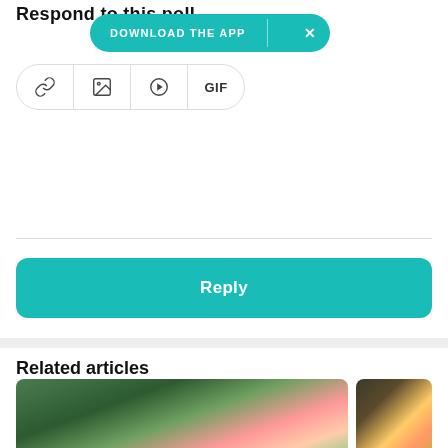Respond to this poll
[Figure (screenshot): DOWNLOAD THE APP banner with X close button in teal/turquoise pill shape]
[Figure (screenshot): Icon toolbar with link, image, play, and GIF buttons in rounded rectangle container]
[Figure (screenshot): Reply button - large teal/turquoise rounded rectangle button]
Related articles
[Figure (photo): Outdoor photo showing people holding colorful smoke bombs (teal/blue smoke) in a forest setting]
[Figure (photo): Partially visible photo with warm lights/bokeh effect]